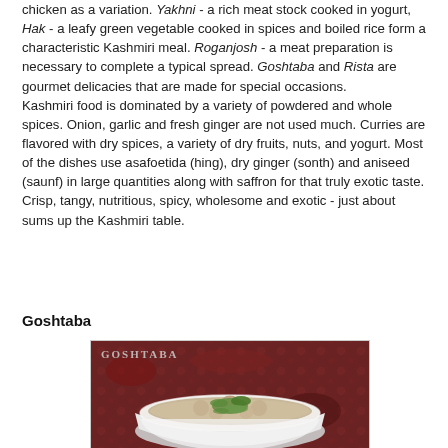chicken as a variation. Yakhni - a rich meat stock cooked in yogurt, Hak - a leafy green vegetable cooked in spices and boiled rice form a characteristic Kashmiri meal. Roganjosh - a meat preparation is necessary to complete a typical spread. Goshtaba and Rista are gourmet delicacies that are made for special occasions.
Kashmiri food is dominated by a variety of powdered and whole spices. Onion, garlic and fresh ginger are not used much. Curries are flavored with dry spices, a variety of dry fruits, nuts, and yogurt. Most of the dishes use asafoetida (hing), dry ginger (sonth) and aniseed (saunf) in large quantities along with saffron for that truly exotic taste. Crisp, tangy, nutritious, spicy, wholesome and exotic - just about sums up the Kashmiri table.
Goshtaba
[Figure (photo): A photograph of Goshtaba dish - a bowl of creamy white curry with meatballs garnished with green herbs, placed on a dark red/maroon patterned background. The word GOSHTABA is overlaid in the top left corner in grey/silver letters.]